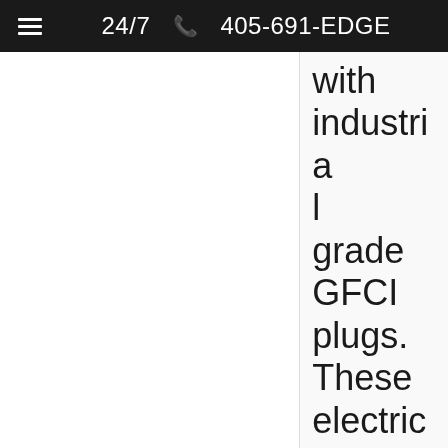≡ 24/7 📞 405-691-EDGE
with industrial grade GFCI plugs. These electrical plugs are backed